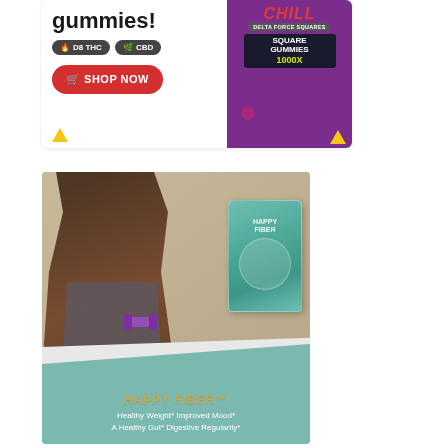[Figure (advertisement): CBD/Delta-8 THC gummies advertisement. White background on left with text 'gummies!', two pill-shaped tag buttons labeled 'D8 THC' and 'CBD', a red 'SHOP NOW' button with cart icon, and small yellow triangle. Right side has purple background with 'CHILL' branding, 'DELTA FORCE SQUARES', CBD product bag showing 'SQUARE GUMMIES 1000X', assorted gummy candies, and a small yellow triangle at bottom right.]
[Figure (advertisement): Happy Fiber supplement advertisement. Shows a smiling Black woman with short curly hair wearing a gray sports top, holding purple dumbbells, against a beige/neutral background. She holds a teal/green Happy Fiber supplement pouch. Bottom section has a teal/muted green background with gold text 'HAPPY FIBER™' and white text reading 'Healthy Weight* Improved Mood* A Healthy Gut* Digestive Regularity*'.]